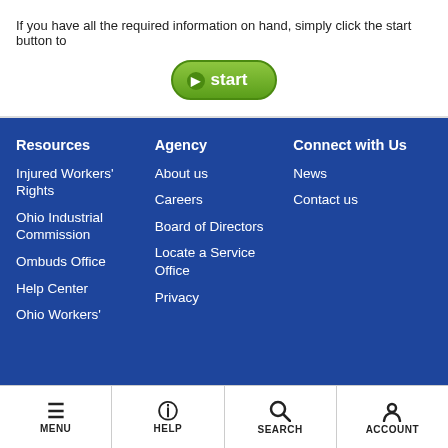If you have all the required information on hand, simply click the start button to
[Figure (other): Green start button with play icon]
Resources
Injured Workers' Rights
Ohio Industrial Commission
Ombuds Office
Help Center
Ohio Workers'
Agency
About us
Careers
Board of Directors
Locate a Service Office
Privacy
Connect with Us
News
Contact us
MENU | HELP | SEARCH | ACCOUNT